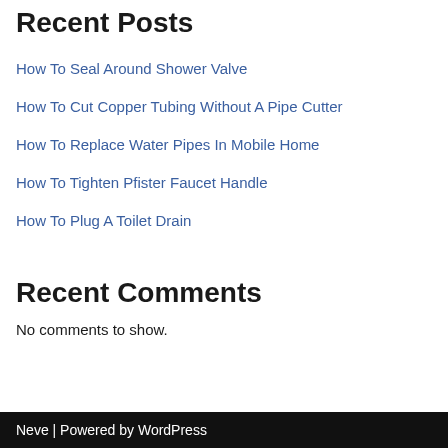Recent Posts
How To Seal Around Shower Valve
How To Cut Copper Tubing Without A Pipe Cutter
How To Replace Water Pipes In Mobile Home
How To Tighten Pfister Faucet Handle
How To Plug A Toilet Drain
Recent Comments
No comments to show.
Neve | Powered by WordPress